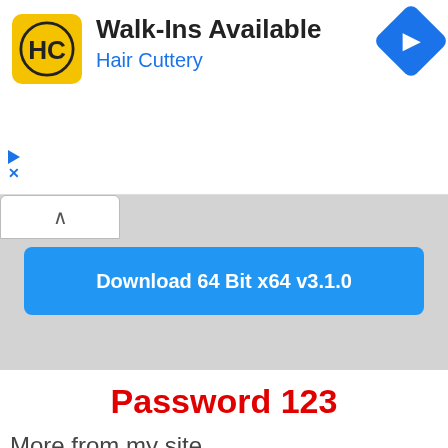[Figure (screenshot): Advertisement banner for Hair Cuttery with yellow HC logo, text 'Walk-Ins Available' and 'Hair Cuttery', and a blue navigation diamond icon on the right.]
[Figure (screenshot): A download button labeled 'Download 64 Bit x64 v3.1.0' on a gray background with a collapse chevron button on the upper left.]
Password 123
More from my site
[Figure (screenshot): Thumbnail placeholder image for Gizmox Visual WebGui Professional]
Gizmox Visual WebGui
[Figure (screenshot): Thumbnail placeholder image for NoiseAsh – Palmary Collection Free]
NoiseAsh – Palmary Collection F…
[Figure (screenshot): Thumbnail placeholder image for Vandalism – Shocking Electro Free]
Vandalism – Shocking Electro F…